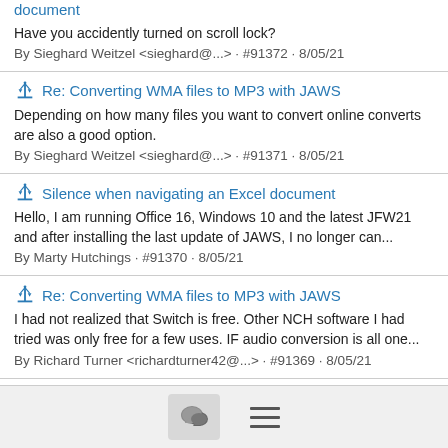document
Have you accidently turned on scroll lock?
By Sieghard Weitzel <sieghard@...> · #91372 · 8/05/21
Re: Converting WMA files to MP3 with JAWS
Depending on how many files you want to convert online converts are also a good option.
By Sieghard Weitzel <sieghard@...> · #91371 · 8/05/21
Silence when navigating an Excel document
Hello, I am running Office 16, Windows 10 and the latest JFW21 and after installing the last update of JAWS, I no longer can...
By Marty Hutchings · #91370 · 8/05/21
Re: Converting WMA files to MP3 with JAWS
I had not realized that Switch is free. Other NCH software I had tried was only free for a few uses. IF audio conversion is all one...
By Richard Turner <richardturner42@...> · #91369 · 8/05/21
[Figure (infographic): Bottom navigation bar with a chat bubble icon button and a hamburger menu icon]